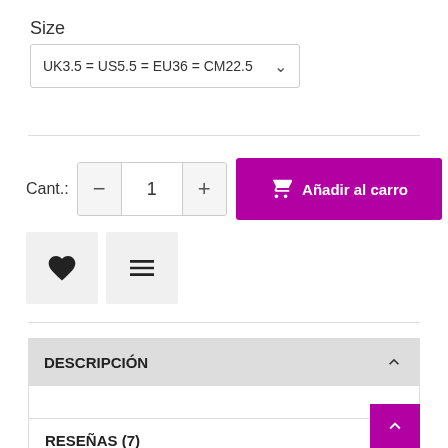Size
UK3.5 = US5.5 = EU36 = CM22.5
Cant.: — 1 +
Añadir al carro
[Figure (other): Heart icon button and compare/sort icon button]
DESCRIPCIÓN
RESEÑAS (7)